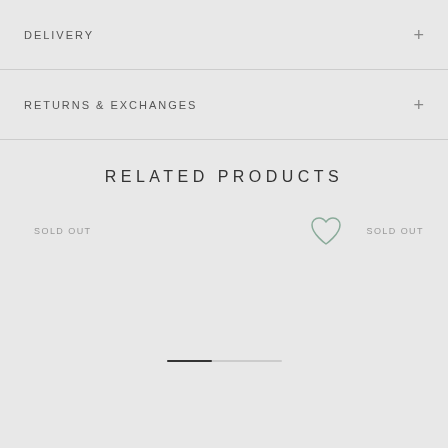DELIVERY
RETURNS & EXCHANGES
RELATED PRODUCTS
SOLD OUT
[Figure (illustration): Heart/wishlist icon outline in muted sage green]
SOLD OUT